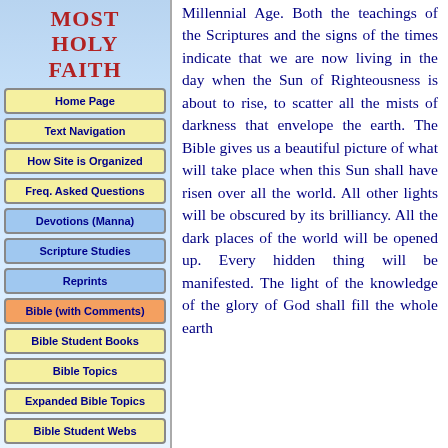MOST HOLY FAITH
Home Page
Text Navigation
How Site is Organized
Freq. Asked Questions
Devotions (Manna)
Scripture Studies
Reprints
Bible (with Comments)
Bible Student Books
Bible Topics
Expanded Bible Topics
Bible Student Webs
Miscellaneous
Millennial Age. Both the teachings of the Scriptures and the signs of the times indicate that we are now living in the day when the Sun of Righteousness is about to rise, to scatter all the mists of darkness that envelope the earth. The Bible gives us a beautiful picture of what will take place when this Sun shall have risen over all the world. All other lights will be obscured by its brilliancy. All the dark places of the world will be opened up. Every hidden thing will be manifested. The light of the knowledge of the glory of God shall fill the whole earth